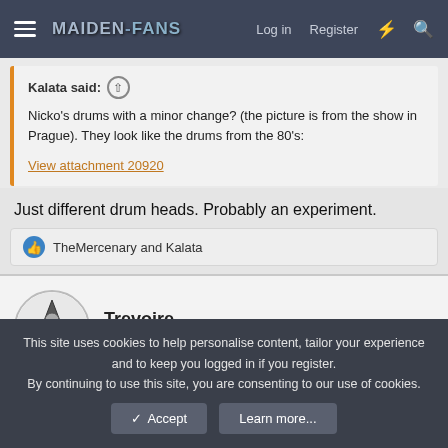Maiden-fans forum navigation bar with hamburger menu, logo, Log in, Register, and icons
Kalata said: ↑
Nicko's drums with a minor change? (the picture is from the show in Prague). They look like the drums from the 80's:
View attachment 20920
Just different drum heads. Probably an experiment.
👍 TheMercenary and Kalata
Trevoire
Ancient Mariner
This site uses cookies to help personalise content, tailor your experience and to keep you logged in if you register.
By continuing to use this site, you are consenting to our use of cookies.